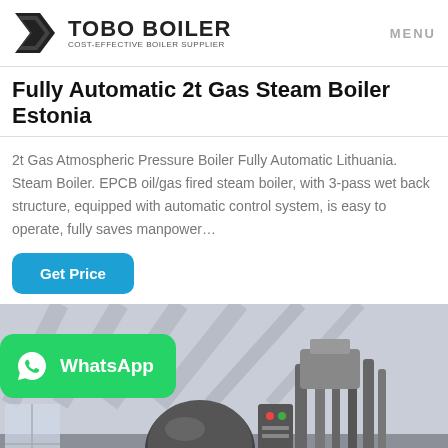TOBO BOILER – COST-EFFECTIVE BOILER SUPPLIER | MENU
Fully Automatic 2t Gas Steam Boiler Estonia
2t Gas Atmospheric Pressure Boiler Fully Automatic Lithuania. Steam Boiler. EPCB oil/gas fired steam boiler, with 3-pass wet back structure, equipped with automatic control system, is easy to operate, fully saves manpower...
[Figure (other): Blue rounded button labeled 'Get Price']
[Figure (photo): Industrial boiler installation inside a factory building with WhatsApp badge overlay]